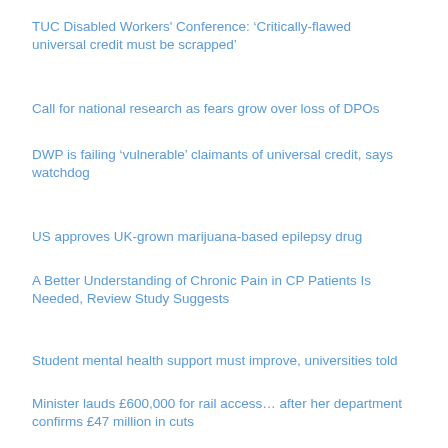TUC Disabled Workers' Conference: ‘Critically-flawed universal credit must be scrapped’
Call for national research as fears grow over loss of DPOs
DWP is failing ‘vulnerable’ claimants of universal credit, says watchdog
US approves UK-grown marijuana-based epilepsy drug
A Better Understanding of Chronic Pain in CP Patients Is Needed, Review Study Suggests
Student mental health support must improve, universities told
Minister lauds £600,000 for rail access… after her department confirms £47 million in cuts
Scientists have discovered a new type of depression: Finding will pave the way for new treatments for 30% of patients who do not respond to drugs